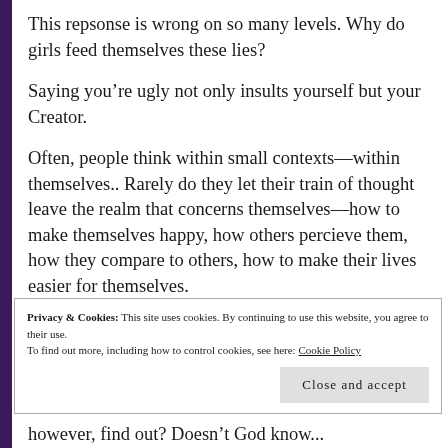This repsonse is wrong on so many levels. Why do girls feed themselves these lies?
Saying you’re ugly not only insults yourself but your Creator.
Often, people think within small contexts—within themselves.. Rarely do they let their train of thought leave the realm that concerns themselves—how to make themselves happy, how others percieve them, how they compare to others, how to make their lives easier for themselves.
Privacy & Cookies: This site uses cookies. By continuing to use this website, you agree to their use.
To find out more, including how to control cookies, see here: Cookie Policy
Close and accept
however, find out? Doesn’t God know...